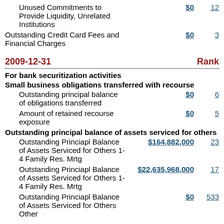Unused Commitments to Provide Liquidity, Unrelated Institutions — $0 — Rank 12
Outstanding Credit Card Fees and Financial Charges — $0 — Rank 3
2009-12-31 Rank
For bank securitization activities
Small business obligations transferred with recourse
Outstanding principal balance of obligations transferred — $0 — Rank 6
Amount of retained recourse exposure — $0 — Rank 5
Outstanding principal balance of assets serviced for others
Outstanding Princiapl Balance of Assets Serviced for Others 1-4 Family Res. Mrtg — $164,882,000 — Rank 23
Outstanding Princiapl Balance of Assets Serviced for Others 1-4 Family Res. Mrtg — $22,635,968,000 — Rank 17
Outstanding Princiapl Balance of Assets Serviced for Others Other — $0 — Rank 533